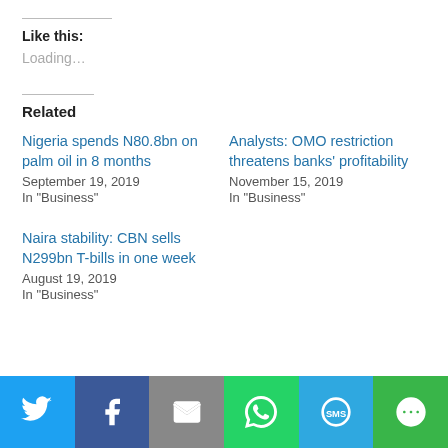Like this:
Loading...
Related
Nigeria spends N80.8bn on palm oil in 8 months
September 19, 2019
In "Business"
Analysts: OMO restriction threatens banks' profitability
November 15, 2019
In "Business"
Naira stability: CBN sells N299bn T-bills in one week
August 19, 2019
In "Business"
Twitter | Facebook | Email | WhatsApp | SMS | More